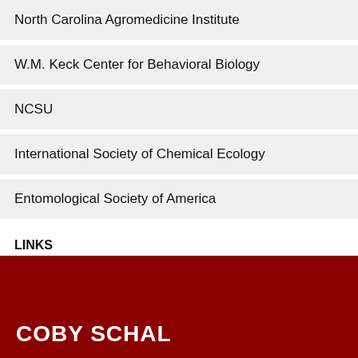North Carolina Agromedicine Institute
W.M. Keck Center for Behavioral Biology
NCSU
International Society of Chemical Ecology
Entomological Society of America
LINKS
News
COBY SCHAL